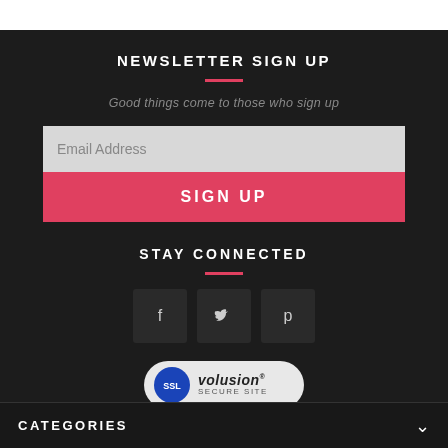NEWSLETTER SIGN UP
Good things come to those who sign up
Email Address
SIGN UP
STAY CONNECTED
[Figure (infographic): Three social media icon buttons: Facebook (f), Twitter (bird), Pinterest (p) on dark square backgrounds]
[Figure (logo): SSL Volusion Secure Site badge with blue SSL circle and volusion text]
CATEGORIES